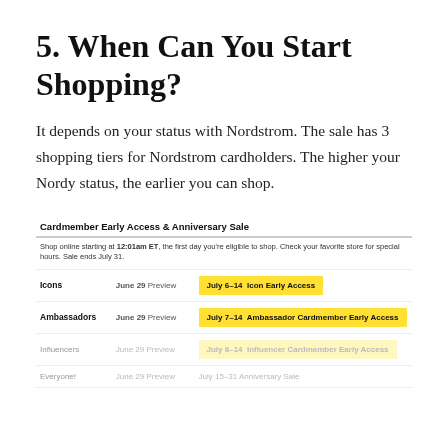5. When Can You Start Shopping?
It depends on your status with Nordstrom. The sale has 3 shopping tiers for Nordstrom cardholders. The higher your Nordy status, the earlier you can shop.
|  | Cardmember Early Access & Anniversary Sale |  |  |
| --- | --- | --- | --- |
|  | Shop online starting at 12:01am ET, the first day you're eligible to shop. Check your favorite store for special hours. Sale ends July 31. |  |  |
| Icons | June 29 Preview | July 6–14 Icon Early Access |  |
| Ambassadors | June 29 Preview | July 7–14 Ambassador Cardmember Early Access |  |
| Influencers | June 29 Preview | July 8–14 Influencer Cardmember Early Access |  |
| Everyone! | June 29 Preview | July 15–31 Anniversary Sale |  |